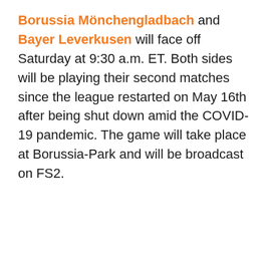Borussia Mönchengladbach and Bayer Leverkusen will face off Saturday at 9:30 a.m. ET. Both sides will be playing their second matches since the league restarted on May 16th after being shut down amid the COVID-19 pandemic. The game will take place at Borussia-Park and will be broadcast on FS2.